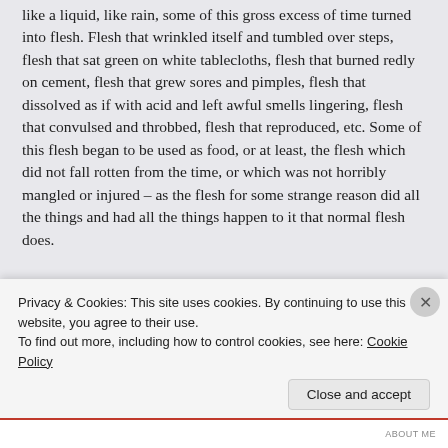like a liquid, like rain, some of this gross excess of time turned into flesh. Flesh that wrinkled itself and tumbled over steps, flesh that sat green on white tablecloths, flesh that burned redly on cement, flesh that grew sores and pimples, flesh that dissolved as if with acid and left awful smells lingering, flesh that convulsed and throbbed, flesh that reproduced, etc. Some of this flesh began to be used as food, or at least, the flesh which did not fall rotten from the time, or which was not horribly mangled or injured – as the flesh for some strange reason did all the things and had all the things happen to it that normal flesh does.
This soon became the main diet of everyone, but still there was so much time that everyone kept eating because there was nothing to do. But there was too much to eat. The days sat wide and open like a vastness of plains and never seemed to end. Soon the days became so large they dwarfed everything else, and the entirety of human existence winked out like a dea...
Privacy & Cookies: This site uses cookies. By continuing to use this website, you agree to their use.
To find out more, including how to control cookies, see here: Cookie Policy
Close and accept